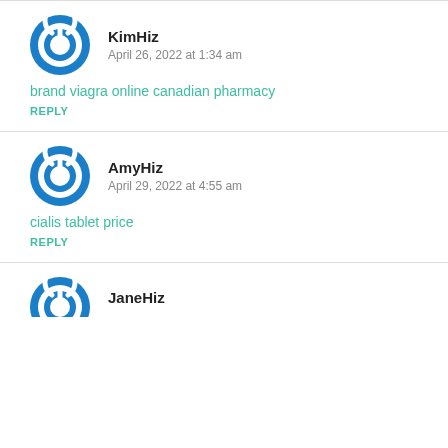[Figure (illustration): Blue circular power button icon avatar for KimHiz]
KimHiz
April 26, 2022 at 1:34 am
brand viagra online canadian pharmacy
REPLY
[Figure (illustration): Blue circular power button icon avatar for AmyHiz]
AmyHiz
April 29, 2022 at 4:55 am
cialis tablet price
REPLY
[Figure (illustration): Blue circular power button icon avatar for JaneHiz (partially visible)]
JaneHiz